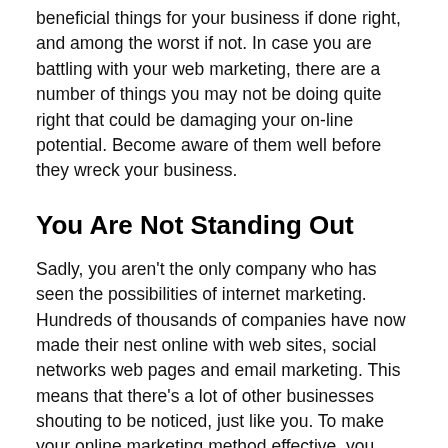beneficial things for your business if done right, and among the worst if not. In case you are battling with your web marketing, there are a number of things you may not be doing quite right that could be damaging your on-line potential. Become aware of them well before they wreck your business.
You Are Not Standing Out
Sadly, you aren't the only company who has seen the possibilities of internet marketing. Hundreds of thousands of companies have now made their nest online with web sites, social networks web pages and email marketing. This means that there's a lot of other businesses shouting to be noticed, just like you. To make your online marketing method effective, you need to stand apart. Find your USP and take advantage of it. Be innovative and unique. The internet marketing methods that are going to do well are the ones that go against the tide rather than sail happily along with it.